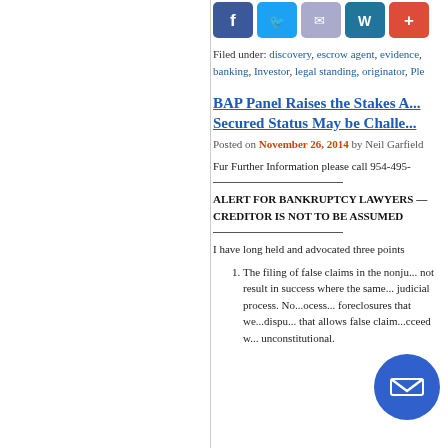[Figure (other): Social media share buttons: Facebook, Twitter, Email, WordPress, Google Plus]
Filed under: discovery, escrow agent, evidence, banking, Investor, legal standing, originator, Ple...
BAP Panel Raises the Stakes A... Secured Status May be Challe...
Posted on November 26, 2014 by Neil Garfield
Fur Further Information please call 954-495-
ALERT FOR BANKRUPTCY LAWYERS — CREDITOR IS NOT TO BE ASSUMED
I have long held and advocated three points
The filing of false claims in the nonju... not result in success where the same... judicial process. No...ocess... foreclosures that we...dispu... that allows false claim...cceed w... unconstitutional.